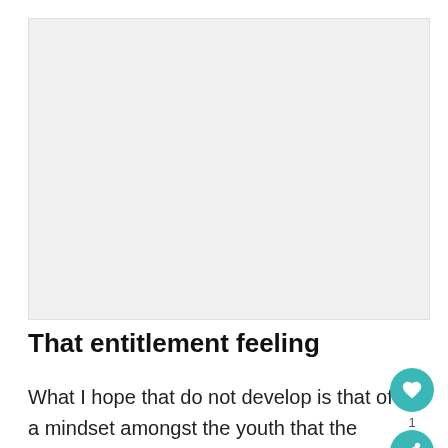[Figure (other): Large blank/white image area placeholder at top of page]
That entitlement feeling
What I hope that do not develop is that of a mindset amongst the youth that the parent are always there  as a safety net  to provide